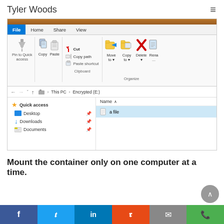Tyler Woods
[Figure (screenshot): Windows File Explorer screenshot showing the Home ribbon tab with Clipboard and Organize groups, address bar showing This PC > Encrypted (E:), left navigation pane with Quick access, Desktop, Downloads, Documents, and right pane showing a file named 'a file' selected.]
Mount the container only on one computer at a time.